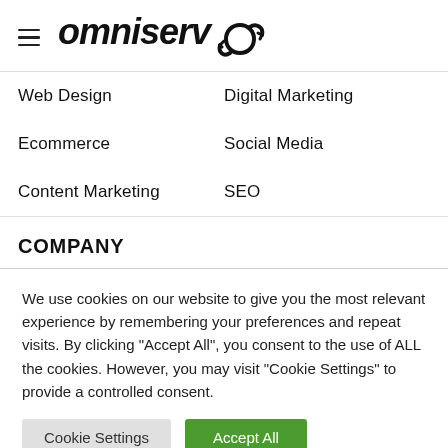omniserv (logo with recycling icon)
Web Design
Digital Marketing
Ecommerce
Social Media
Content Marketing
SEO
COMPANY
We use cookies on our website to give you the most relevant experience by remembering your preferences and repeat visits. By clicking "Accept All", you consent to the use of ALL the cookies. However, you may visit "Cookie Settings" to provide a controlled consent.
Cookie Settings | Accept All